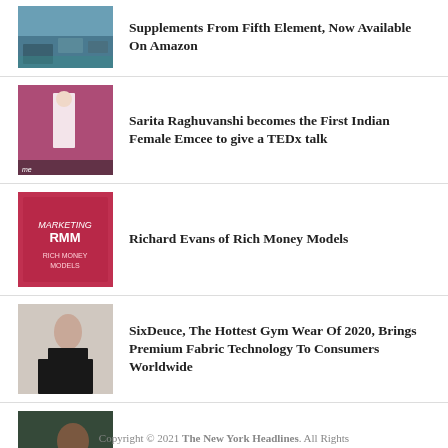Supplements From Fifth Element, Now Available On Amazon
Sarita Raghuvanshi becomes the First Indian Female Emcee to give a TEDx talk
Richard Evans of Rich Money Models
SixDeuce, The Hottest Gym Wear Of 2020, Brings Premium Fabric Technology To Consumers Worldwide
Flying High, Author Dr Nirvadha Singh
Copyright © 2021 The New York Headlines. All Rights